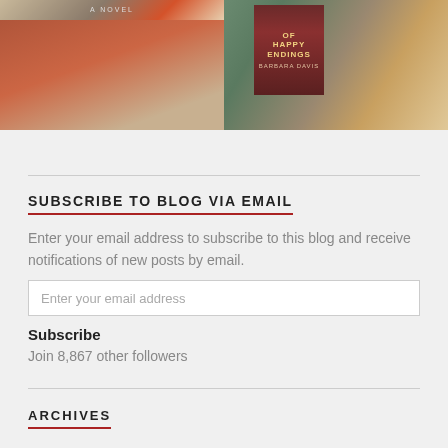[Figure (photo): Two book cover photos side by side. Left: A novel with a person in a red coat in front of a building. Right: 'Of Happy Endings' by Barbara Davis, next to a cup of tea and decorative items.]
SUBSCRIBE TO BLOG VIA EMAIL
Enter your email address to subscribe to this blog and receive notifications of new posts by email.
Enter your email address
Subscribe
Join 8,867 other followers
ARCHIVES